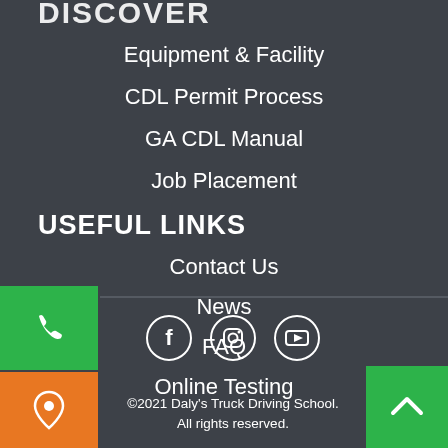DISCOVER
Equipment & Facility
CDL Permit Process
GA CDL Manual
Job Placement
USEFUL LINKS
Contact Us
News
FAQ
Online Testing
[Figure (illustration): Social media icons: Facebook, Instagram, YouTube in circular outlines]
©2021 Daly's Truck Driving School. All rights reserved.